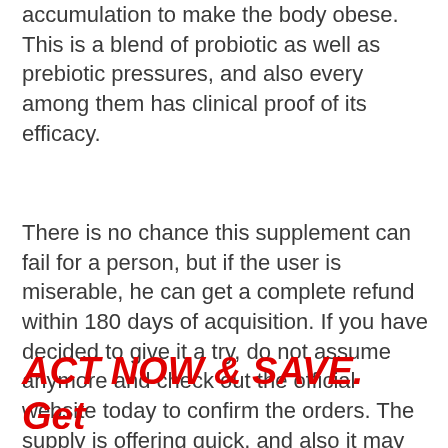accumulation to make the body obese. This is a blend of probiotic as well as prebiotic pressures, and also every among them has clinical proof of its efficacy.
There is no chance this supplement can fail for a person, but if the user is miserable, he can get a complete refund within 180 days of acquisition. If you have decided to give it a try, do not assume anymore and check out the official website today to confirm the orders. The supply is offering quick, and also it may finish soon. Buy LeanBiome while it is still offered using this straight link to the official website.
ACT NOW & SAVE. Get